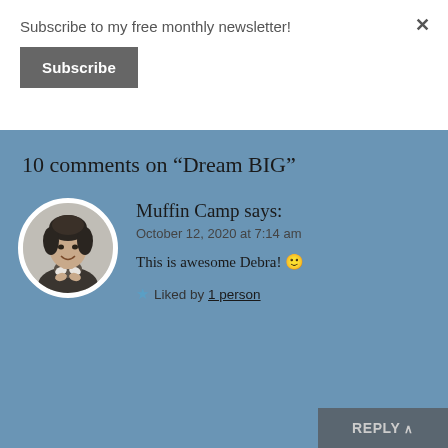Subscribe to my free monthly newsletter!
Subscribe
10 comments on “Dream BIG”
[Figure (photo): Black and white circular avatar photo of a woman smiling with hands clasped]
Muffin Camp says:
October 12, 2020 at 7:14 am
This is awesome Debra! 🙂
Liked by 1 person
REPLY